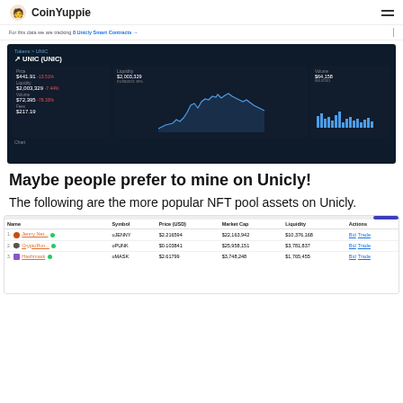CoinYuppie
For this data we are tracking 8 Unicly Smart Contracts →
[Figure (screenshot): Screenshot of Unicly (UNIC) token dashboard showing Price $441.91 -13.51%, Liquidity $2,003,329 -7.44%, Volume $72,395 -78.33%, Fees $217.19, with line chart and bar chart panels]
Maybe people prefer to mine on Unicly!
The following are the more popular NFT pool assets on Unicly.
| Name | Symbol | Price (USD) | Market Cap | Liquidity | Actions |
| --- | --- | --- | --- | --- | --- |
| 1. Jenny Net... ● | uJENNY | $2.216594 | $22,163,942 | $10,376,168 | Bid Trade |
| 2. CryptoPun... ● | uPUNK | $0.103841 | $25,958,151 | $3,781,837 | Bid Trade |
| 3. Hashmask ● | uMASK | $2.61799 | $3,748,248 | $1,765,455 | Bid Trade |